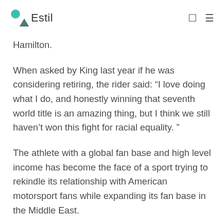Estil
Hamilton.
When asked by King last year if he was considering retiring, the rider said: “I love doing what I do, and honestly winning that seventh world title is an amazing thing, but I think we still haven’t won this fight for racial equality. ”
The athlete with a global fan base and high level income has become the face of a sport trying to rekindle its relationship with American motorsport fans while expanding its fan base in the Middle East.
Lewis Hamilton used his status as the only black Formula 1 driver to raise awareness of the need to diversify the sport. Bron Lennon / Formula 1...